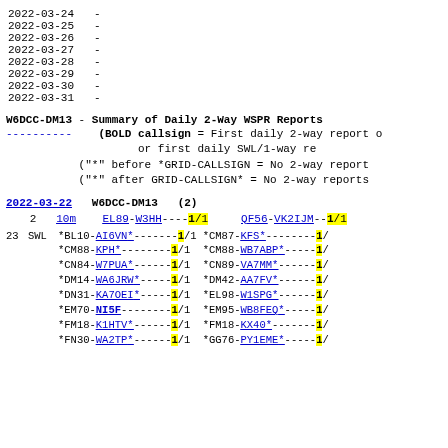| Date | Value |
| --- | --- |
| 2022-03-24 | - |
| 2022-03-25 | - |
| 2022-03-26 | - |
| 2022-03-27 | - |
| 2022-03-28 | - |
| 2022-03-29 | - |
| 2022-03-30 | - |
| 2022-03-31 | - |
W6DCC-DM13 - Summary of Daily 2-Way WSPR Reports
---------- (BOLD callsign = First daily 2-way report or first daily SWL/1-way re
("*" before *GRID-CALLSIGN = No 2-way report
("*" after GRID-CALLSIGN* = No 2-way reports
2022-03-22   W6DCC-DM13   (2)
2   10m   EL89-W3HH----1/1   QF56-VK2IJM--1/1
| 23 | SWL | *BL10-AI6VN*-------1/1 | *CM87-KFS*--------1/ |
|  |  | *CM88-KPH*--------1/1 | *CM88-WB7ABP*-----1/ |
|  |  | *CN84-W7PUA*------1/1 | *CN89-VA7MM*------1/ |
|  |  | *DM14-WA6JRW*-----1/1 | *DM42-AA7FV*------1/ |
|  |  | *DN31-KA7OEI*-----1/1 | *EL98-W1SPG*------1/ |
|  |  | *EM70-NI5F--------1/1 | *EM95-WB8FEQ*-----1/ |
|  |  | *FM18-K1HTV*------1/1 | *FM18-KX40*-------1/ |
|  |  | *FN30-WA2TP*------1/1 | *GG76-PY1EME*-----1/ |